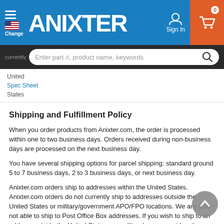Anixter — Sign In — Cart (0)
currently | Enter part #, product name, keywords
United States — Spec Sheet
Shipping and Fulfillment Policy
When you order products from Anixter.com, the order is processed within one to two business days. Orders received during non-business days are processed on the next business day.
You have several shipping options for parcel shipping: standard ground 5 to 7 business days, 2 to 3 business days, or next business day.
Anixter.com orders ship to addresses within the United States. Anixter.com orders do not currently ship to addresses outside the United States or military/government APO/FPO locations. We are also not able to ship to Post Office Box addresses. If you wish to ship to an address outside the United States or a military/government location, please contact your local Anixter sales representative to